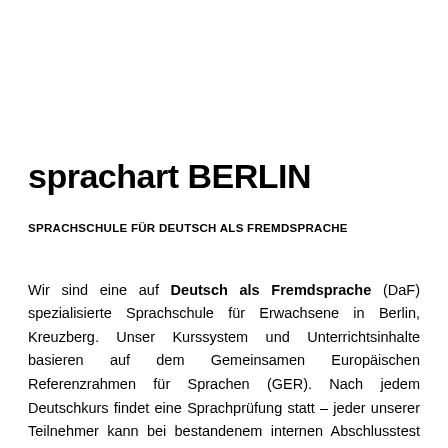sprachart BERLIN
SPRACHSCHULE FÜR DEUTSCH ALS FREMDSPRACHE
Wir sind eine auf Deutsch als Fremdsprache (DaF) spezialisierte Sprachschule für Erwachsene in Berlin, Kreuzberg. Unser Kurssystem und Unterrichtsinhalte basieren auf dem Gemeinsamen Europäischen Referenzrahmen für Sprachen (GER). Nach jedem Deutschkurs findet eine Sprachprüfung statt – jeder unserer Teilnehmer kann bei bestandenem internen Abschlusstest ein sprachart BERLIN Zertifikat über den Abschluss der Prüfung erhalten.